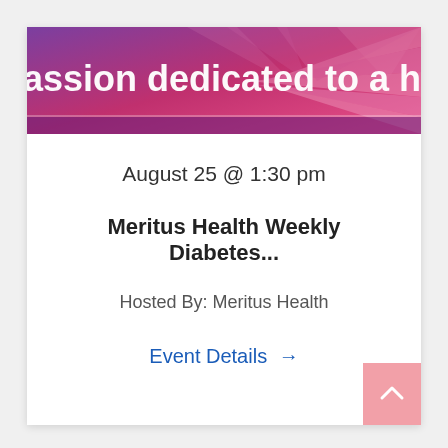[Figure (illustration): Banner image with purple-to-pink gradient background with radiating light rays and white text partially visible reading 'assion dedicated to a healthy']
August 25 @ 1:30 pm
Meritus Health Weekly Diabetes...
Hosted By: Meritus Health
Event Details →